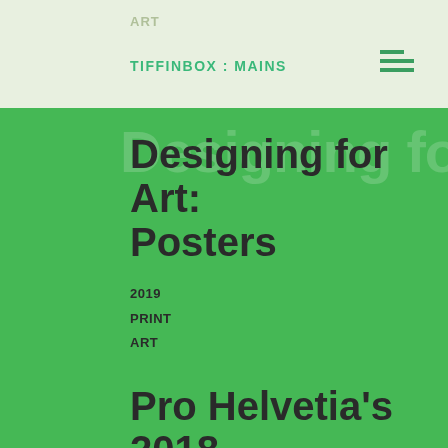ART
TIFFINBOX : MAINS
Designing for Art: Posters
2019
PRINT
ART
Pro Helvetia's 2018 Programme – Season 1 and 2
2018
PRINT
ART